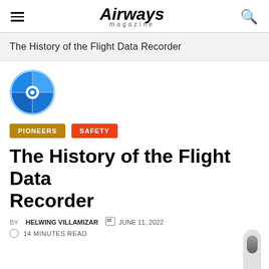Airways magazine
The History of the Flight Data Recorder
[Figure (illustration): Blue and white circular avatar/logo icon with concentric rings]
PIONEERS   SAFETY
The History of the Flight Data Recorder
BY HELWING VILLAMIZAR   JUNE 11, 2022
14 MINUTES READ